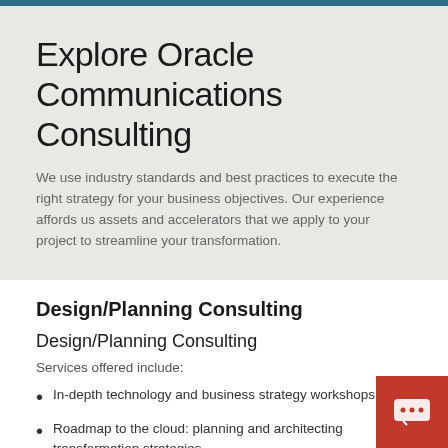Explore Oracle Communications Consulting
We use industry standards and best practices to execute the right strategy for your business objectives. Our experience affords us assets and accelerators that we apply to your project to streamline your transformation.
Design/Planning Consulting
Design/Planning Consulting
Services offered include:
In-depth technology and business strategy workshops
Roadmap to the cloud: planning and architecting transformation strategies
Business and IT consulting leadership
Active participation in standards creation